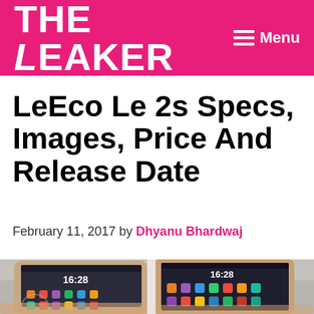THE LEAKER  Menu
LeEco Le 2s Specs, Images, Price And Release Date
February 11, 2017 by Dhyanu Bhardwaj
[Figure (photo): Two LeEco smartphones side by side showing their screens with time 16:28 and app icons, held in hands over a light background. A watermark with 'The Leaker' logo is visible at the bottom left.]